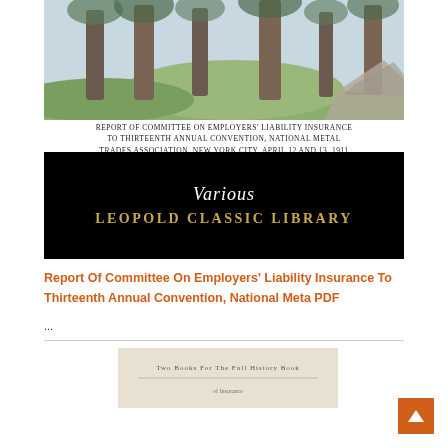[Figure (illustration): Watercolor painting of trees in a forest landscape used as book cover art]
REPORT OF COMMITTEE ON EMPLOYERS' LIABILITY INSURANCE TO THIRTEENTH ANNUAL CONVENTION, NATIONAL METAL TRADES ASSOCIATION, NEW YORK CITY, APRIL 12 AND 13, 1911
[Figure (logo): Leopold Classic Library logo on black background with 'Various' in italic script and 'LEOPOLD CLASSIC LIBRARY' in gold text]
Report Of Committee On Employers' Liability Insurance To Thirteenth Annual Convention, National Meta PDF
...
[Figure (screenshot): Partial thumbnail of another book or document page at the bottom]